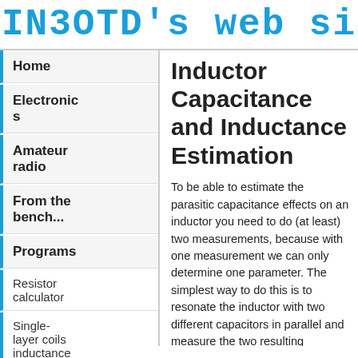IN3OTD's web site
Home
Electronics
Amateur radio
From the bench...
Programs
Resistor calculator
Single-layer coils inductance
Inductor Capacitance and Inductance Estimation
To be able to estimate the parasitic capacitance effects on an inductor you need to do (at least) two measurements, because with one measurement we can only determine one parameter. The simplest way to do this is to resonate the inductor with two different capacitors in parallel and measure the two resulting resonance frequencies; for this purpose, a grid-dip meter or a simple oscillator can be used. With the two measured resonant frequencies and the two known